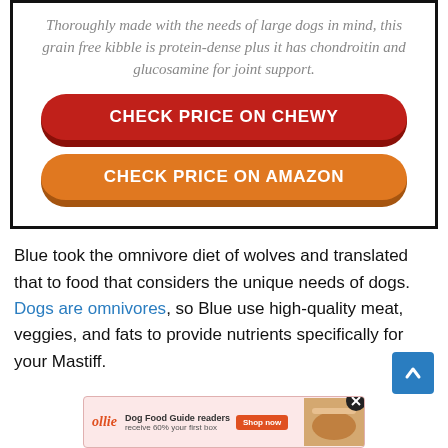Thoroughly made with the needs of large dogs in mind, this grain free kibble is protein-dense plus it has chondroitin and glucosamine for joint support.
[Figure (other): Red pill-shaped button with white bold text CHECK PRICE ON CHEWY]
[Figure (other): Orange pill-shaped button with white bold text CHECK PRICE ON AMAZON]
Blue took the omnivore diet of wolves and translated that to food that considers the unique needs of dogs. Dogs are omnivores, so Blue use high-quality meat, veggies, and fats to provide nutrients specifically for your Mastiff.
[Figure (other): Scroll-to-top blue button with upward chevron arrow in bottom right corner]
[Figure (other): Advertisement banner for Ollie dog food: Dog Food Guide readers receive 60% your first box, Shop now button, food image on right, close X button]